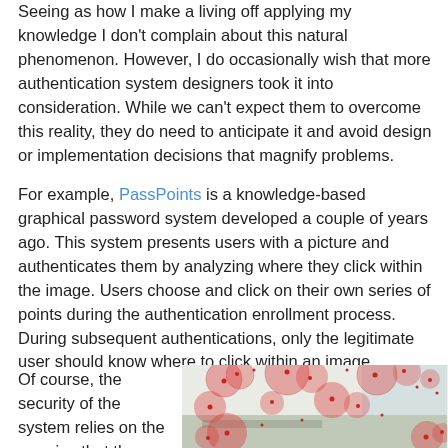Seeing as how I make a living off applying my knowledge I don't complain about this natural phenomenon. However, I do occasionally wish that more authentication system designers took it into consideration. While we can't expect them to overcome this reality, they do need to anticipate it and avoid design or implementation decisions that magnify problems.
For example, PassPoints is a knowledge-based graphical password system developed a couple of years ago. This system presents users with a picture and authenticates them by analyzing where they click within the image. Users choose and click on their own series of points during the authentication enrollment process. During subsequent authentications, only the legitimate user should know where to click within an image.
Of course, the security of the system relies on the premise that there aren't a
[Figure (photo): Screenshot of PassPoints graphical password system showing a room image overlaid with red translucent circles and dots indicating click points on various areas of the image.]